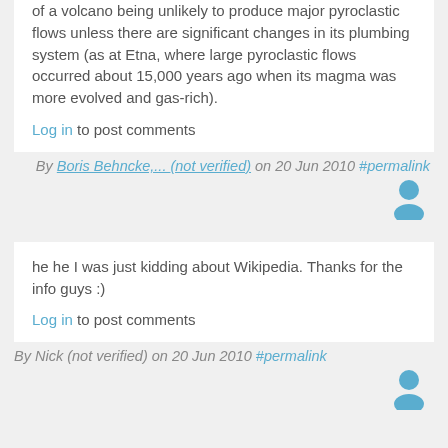of a volcano being unlikely to produce major pyroclastic flows unless there are significant changes in its plumbing system (as at Etna, where large pyroclastic flows occurred about 15,000 years ago when its magma was more evolved and gas-rich).
Log in to post comments
By Boris Behncke,... (not verified) on 20 Jun 2010 #permalink
he he I was just kidding about Wikipedia. Thanks for the info guys :)
Log in to post comments
By Nick (not verified) on 20 Jun 2010 #permalink